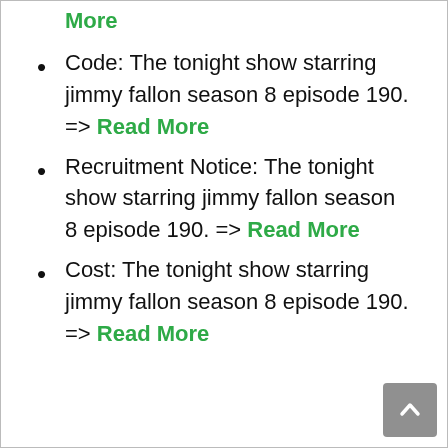Read More (truncated top)
Code: The tonight show starring jimmy fallon season 8 episode 190. => Read More
Recruitment Notice: The tonight show starring jimmy fallon season 8 episode 190. => Read More
Cost: The tonight show starring jimmy fallon season 8 episode 190. => Read More